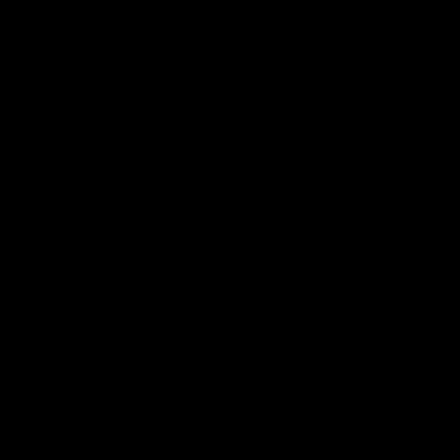01/30/2016 – Metro Pro Wrestling – Kansas City... Kobra Kai Dojo (Davey Vega and Mat Fitchett s... defended their Metro Pro Tag Team Titles again... (Logan and Sterling).
02/13/2016 – St. Louis Anarchy – Alton, Illinois... Davey Vega def. Jeremy Wyatt.
02/14/20015 – St. Louis Anarchy -Alton, Illinois... Davey Vega def. Trik Davis.
02/20/2016 – Pro Wrestling Championship Seri... Illinois
Davey Vega def. Everett Connors
K.C. Karrington def. Davey Vega.
04/30/2016 – Pro Wrestling Championship Seri... Illinois
Jake Dirden (w/ Greg Jovi)(Ego Busters) def. D... Vega(Resurgence)
05/20/2016 – St. Louis Anarchy – Alton, Illinois...
T.J. Perkins def. Davey Vega.
05/21/2016 – St. Louis Anarchy – Alton, Illinois...
Jonathan Gresham def. Davey Vega.
06/04/2016 – Metro Pro Wrestling – Kansas Ci...